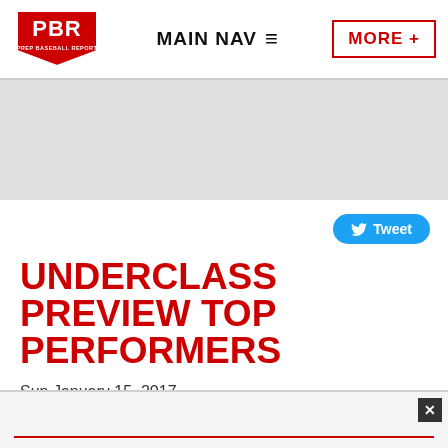PBR PREP BASEBALL REPORT | MAIN NAV | MORE+
[Figure (logo): PBR Prep Baseball Report logo - red shield with PBR text]
UNDERCLASS PREVIEW TOP PERFORMERS
Sun January 15, 2017